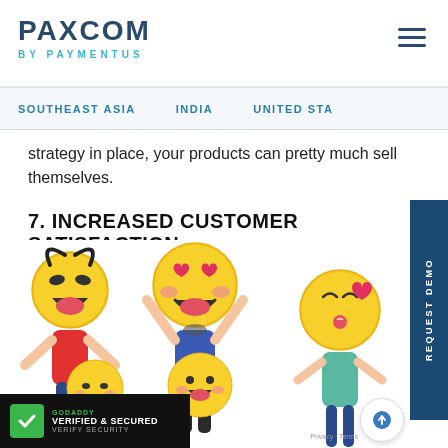PAXCOM BY PAYMENTUS
SOUTHEAST ASIA   INDIA   UNITED STATES
strategy in place, your products can pretty much sell themselves.
7. INCREASED CUSTOMER SATISFACTION
[Figure (illustration): Illustration of cartoon people holding large emoji faces (smiling, laughing with hearts, kissing face) representing customer satisfaction]
[Figure (logo): GoDaddy Verified & Secured badge]